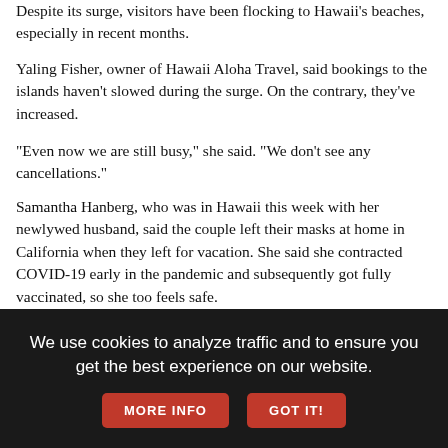Despite its surge, visitors have been flocking to Hawaii's beaches, especially in recent months.
Yaling Fisher, owner of Hawaii Aloha Travel, said bookings to the islands haven't slowed during the surge. On the contrary, they've increased.
"Even now we are still busy," she said. "We don't see any cancellations."
Samantha Hanberg, who was in Hawaii this week with her newlywed husband, said the couple left their masks at home in California when they left for vacation. She said she contracted COVID-19 early in the pandemic and subsequently got fully vaccinated, so she too feels safe.
"Nobody wants to get sick, but it's definitely not at the forefront of my thought process anymore," she said, snacking on shave ice on Waikiki Beach. "I'm to the point now where I just I want to go back to living and enjoying life, and not being so worried."
Officials initially shut down Hawaii's tourism industry by requiring all
We use cookies to analyze traffic and to ensure you get the best experience on our website.
MORE INFO
GOT IT!